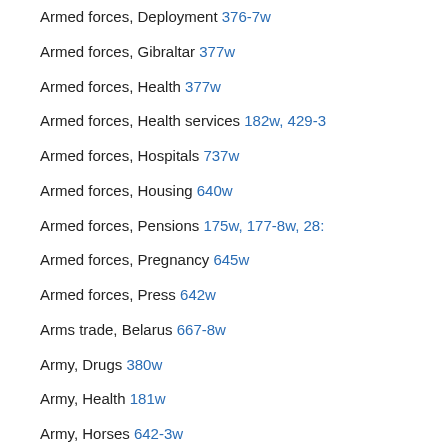Armed forces, Deployment 376-7w
Armed forces, Gibraltar 377w
Armed forces, Health 377w
Armed forces, Health services 182w, 429-3
Armed forces, Hospitals 737w
Armed forces, Housing 640w
Armed forces, Pensions 175w, 177-8w, 28:
Armed forces, Pregnancy 645w
Armed forces, Press 642w
Arms trade, Belarus 667-8w
Army, Drugs 380w
Army, Health 181w
Army, Horses 642-3w
Army, Manpower 378-9w
Army, Training 380w